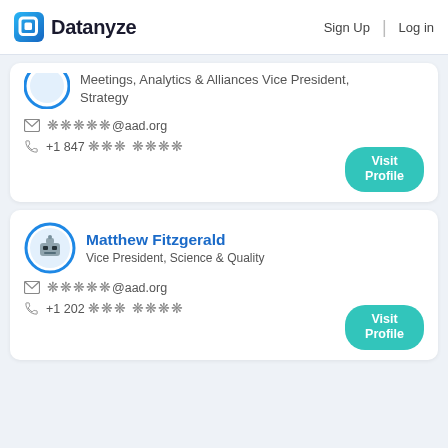Datanyze  Sign Up  Log in
Meetings, Analytics & Alliances Vice President, Strategy
✉ ❋❋❋❋❋@aad.org
☎ +1 847 ❋❋❋ ❋❋❋❋
Matthew Fitzgerald
Vice President, Science & Quality
✉ ❋❋❋❋❋@aad.org
☎ +1 202 ❋❋❋ ❋❋❋❋